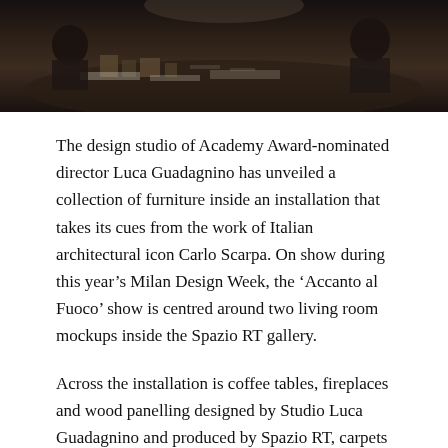[Figure (photo): Dark photograph showing people working around a table with architectural models and documents, dimly lit interior scene]
The design studio of Academy Award-nominated director Luca Guadagnino has unveiled a collection of furniture inside an installation that takes its cues from the work of Italian architectural icon Carlo Scarpa. On show during this year's Milan Design Week, the ‘Accanto al Fuoco’ show is centred around two living room mockups inside the Spazio RT gallery.
Across the installation is coffee tables, fireplaces and wood panelling designed by Studio Luca Guadagnino and produced by Spazio RT, carpets produced by La Manufacture Cogolin, glass sconces by FontanaArte, and ceramics by Italian American artist Francesco Simeti. The studio has also paired vintage furniture pieces alongside